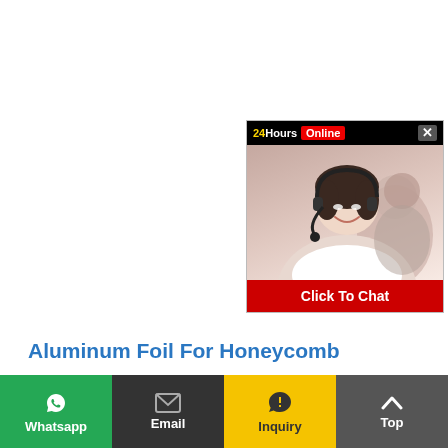[Figure (photo): 24 Hours Online chat widget showing a customer service representative with headset, with a 'Click To Chat' red button at bottom]
Aluminum Foil For Honeycomb
Honeycomb Aluminium foil Details Typical alloy 3003 5052 Temper O,H14, H16, H22, H24, O、H12、H14、H16、H18、H19、H22、H24、H26 Thickness (mm) 0.005-0.2 0.03-0.2 Width (mm) 20-2000 20-2000 Length (mm)…
Contact Us
Whatsapp  Email  Inquiry  Top